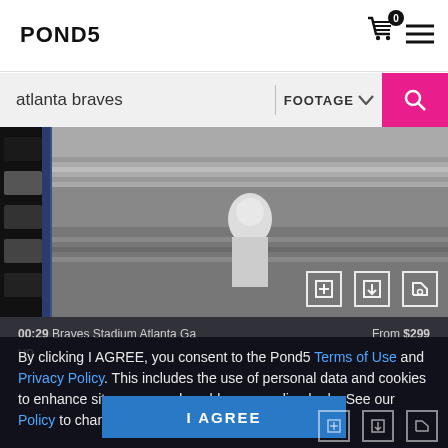[Figure (logo): Pond5 logo in bold black text]
[Figure (screenshot): Search bar with 'atlanta braves' query, FOOTAGE dropdown, and pink search button]
[Figure (photo): Black and white video thumbnail showing a person standing on what appears to be a baseball field]
00:29  Braves Stadium Atlanta Ga   From $299
By clicking I AGREE, you consent to the Pond5 Terms of Use and Privacy Policy. This includes the use of personal data and cookies to enhance site usage and enable personalized ads. See our Policy to change cookie preferences on your device.
I AGREE